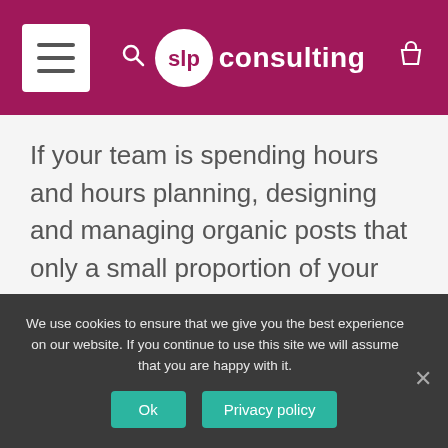slp consulting
If your team is spending hours and hours planning, designing and managing organic posts that only a small proportion of your fans/followers (the most engaged and loyal) will see, is it really worth the effort?
We use cookies to ensure that we give you the best experience on our website. If you continue to use this site we will assume that you are happy with it.